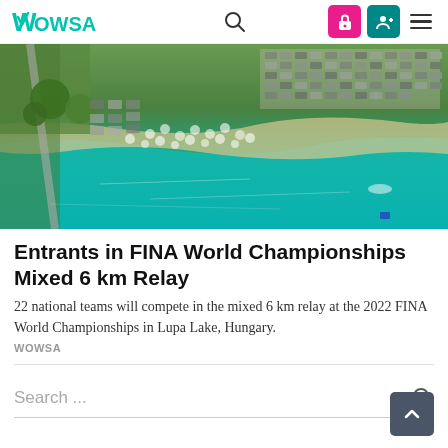WOWSA
[Figure (photo): Aerial view of Lupa Lake in Hungary showing a crowded beach with tents, parked cars, and teal water]
Entrants in FINA World Championships Mixed 6 km Relay
22 national teams will compete in the mixed 6 km relay at the 2022 FINA World Championships in Lupa Lake, Hungary.
WOWSA
Search ...